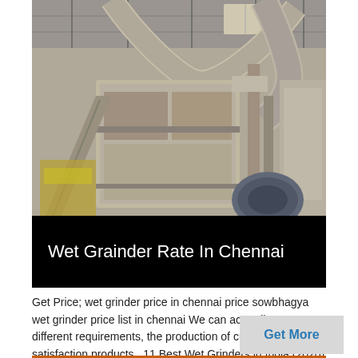[Figure (photo): Industrial machinery inside a large warehouse or factory — large beige/tan grinding or milling equipment with pipes, ducts, conveyor structures, steel framework, and a motor unit, all under a metal roof]
Wet Grainder Rate In Chennai
Get Price; wet grinder price in chennai price sowbhagya wet grinder price list in chennai We can according to different requirements, the production of customer satisfaction products . 11 Best Wet Grinders in India (2020) Buyer's .